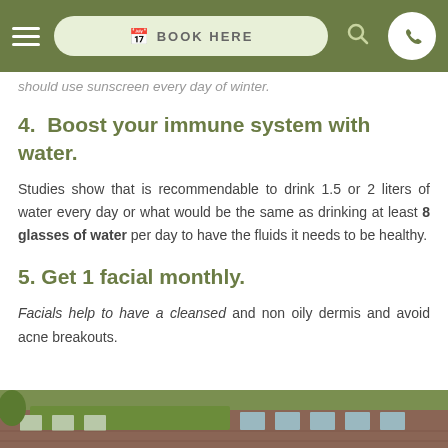BOOK HERE [navigation bar]
should use sunscreen every day of winter.
4. Boost your immune system with water.
Studies show that is recommendable to drink 1.5 or 2 liters of water every day or what would be the same as drinking at least 8 glasses of water per day to have the fluids it needs to be healthy.
5. Get 1 facial monthly.
Facials help to have a cleansed and non oily dermis and avoid acne breakouts.
[Figure (photo): Exterior photo of a building with brick facade and green canopy, partially visible at the bottom of the page]